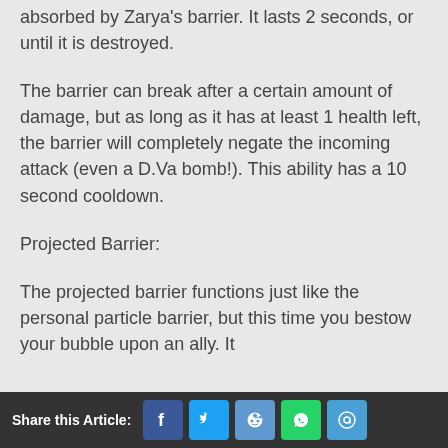absorbed by Zarya's barrier. It lasts 2 seconds, or until it is destroyed.
The barrier can break after a certain amount of damage, but as long as it has at least 1 health left, the barrier will completely negate the incoming attack (even a D.Va bomb!). This ability has a 10 second cooldown.
Projected Barrier:
The projected barrier functions just like the personal particle barrier, but this time you bestow your bubble upon an ally. It
Share this Article: